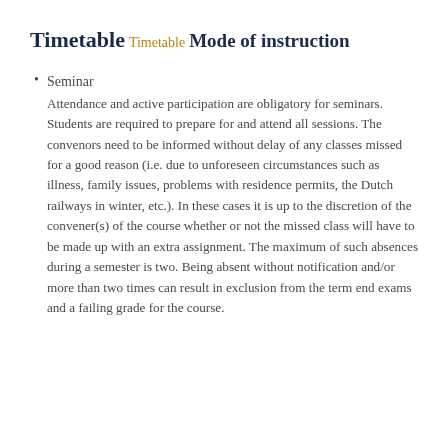Timetable
Timetable
Mode of instruction
Seminar
Attendance and active participation are obligatory for seminars. Students are required to prepare for and attend all sessions. The convenors need to be informed without delay of any classes missed for a good reason (i.e. due to unforeseen circumstances such as illness, family issues, problems with residence permits, the Dutch railways in winter, etc.). In these cases it is up to the discretion of the convener(s) of the course whether or not the missed class will have to be made up with an extra assignment. The maximum of such absences during a semester is two. Being absent without notification and/or more than two times can result in exclusion from the term end exams and a failing grade for the course.